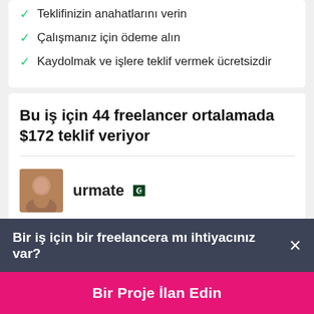Teklifinizin anahatlarını verin
Çalışmanız için ödeme alın
Kaydolmak ve işlere teklif vermek ücretsizdir
Bu iş için 44 freelancer ortalamada $172 teklif veriyor
urmate [Pakistan flag]
Bir iş için bir freelancera mı ihtiyacınız var?
Bir Proje İlan Edin